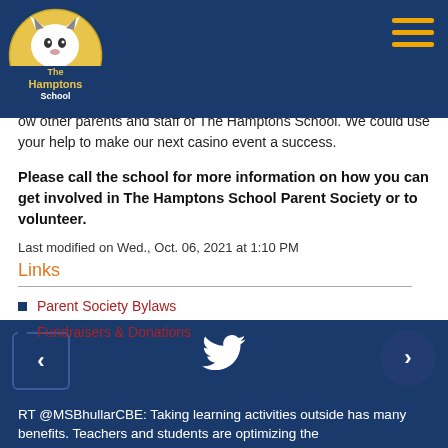The Hamptons School navigation header with logo and menu icon
ow other parents and staff of The Hamptons School. We could use your help to make our next casino event a success.
Please call the school for more information on how you can get involved in The Hamptons School Parent Society or to volunteer.
Last modified on Wed., Oct. 06, 2021 at 1:10 PM
Links
Parent Society Bylaws
Fundraisers & Donations
RT @MSBhullarCBE: Taking learning activities outside has many benefits. Teachers and students are optimizing the